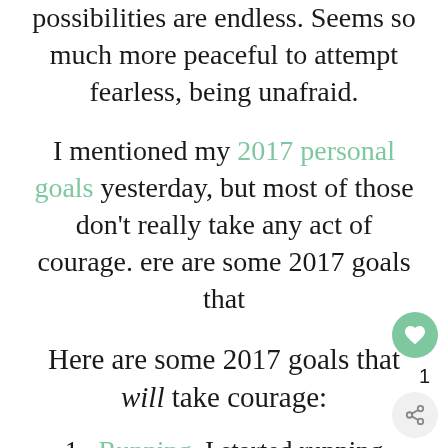possibilities are endless. Seems so much more peaceful to attempt fearless, being unafraid.
I mentioned my 2017 personal goals yesterday, but most of those don't really take any act of courage. ere are some 2017 goals that
Here are some 2017 goals that will take courage:
Running. I started running again, and I have been loving it. Sure, the first